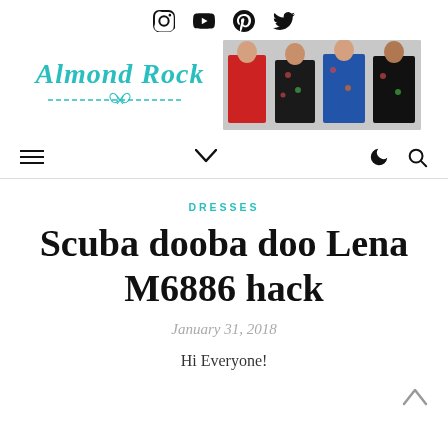Social icons: Instagram, YouTube, Pinterest, Twitter
[Figure (logo): Almond Rock cursive teal logo with dashed scissors line beneath]
[Figure (photo): Banner showing four women modeling dresses in various styles]
Navigation bar with hamburger menu, chevron down, moon/dark mode icon, and search icon
DRESSES
Scuba dooba doo Lena M6886 hack
January 31, 2018
Hi Everyone!